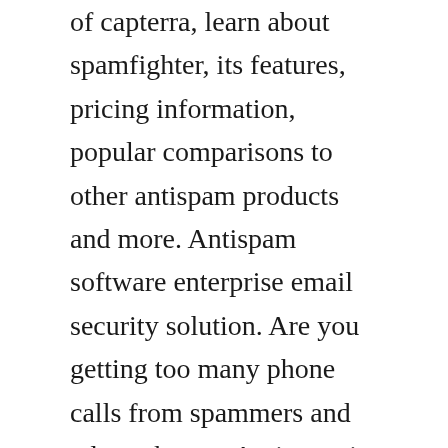of capterra, learn about spamfighter, its features, pricing information, popular comparisons to other antispam products and more. Antispam software enterprise email security solution. Are you getting too many phone calls from spammers and telemarketers. Antispam is software designed to prevent or block unwanted or unsolicited emails also known as spam from being opened or received antispam software uses various means to detect unwanted messages, such as whitelists, blacklists, address lists, mail reputation authorities and keyword matching.